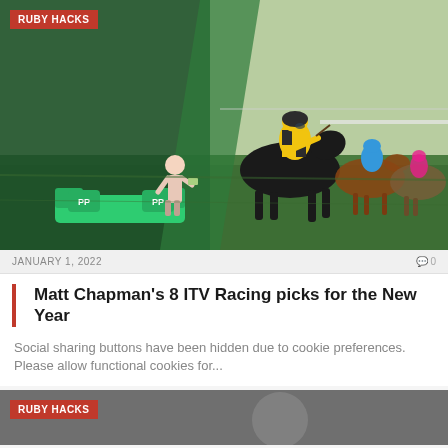[Figure (photo): Horse racing image showing a jockey in yellow and black silks riding a dark horse leading a race, with Paddy Power branding and a man in a pink suit on a green sofa in the left portion of the composite image]
RUBY HACKS
JANUARY 1, 2022
0
Matt Chapman's 8 ITV Racing picks for the New Year
Social sharing buttons have been hidden due to cookie preferences. Please allow functional cookies for...
[Figure (photo): Second article image - dark/grey background with Ruby Hacks badge]
RUBY HACKS